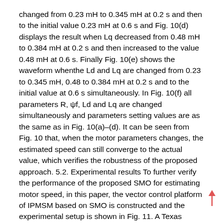changed from 0.23 mH to 0.345 mH at 0.2 s and then to the initial value 0.23 mH at 0.6 s and Fig. 10(d) displays the result when Lq decreased from 0.48 mH to 0.384 mH at 0.2 s and then increased to the value 0.48 mH at 0.6 s. Finally Fig. 10(e) shows the waveform whenthe Ld and Lq are changed from 0.23 to 0.345 mH, 0.48 to 0.384 mH at 0.2 s and to the initial value at 0.6 s simultaneously. In Fig. 10(f) all parameters R, ψf, Ld and Lq are changed simultaneously and parameters setting values are as the same as in Fig. 10(a)–(d). It can be seen from Fig. 10 that, when the motor parameters changes, the estimated speed can still converge to the actual value, which verifies the robustness of the proposed approach. 5.2. Experimental results To further verify the performance of the proposed SMO for estimating motor speed, in this paper, the vector control platform of IPMSM based on SMO is constructed and the experimental setup is shown in Fig. 11. A Texas Instruments TMS320F2812 DSP is employed as the digital controller, and the space vector modulation algorithm is used as the modulation strategy. An induction motor through a gear box is mechanically coupled with the IPMSM. Table 3 Parameters of experiment IPMSM. UN ¼